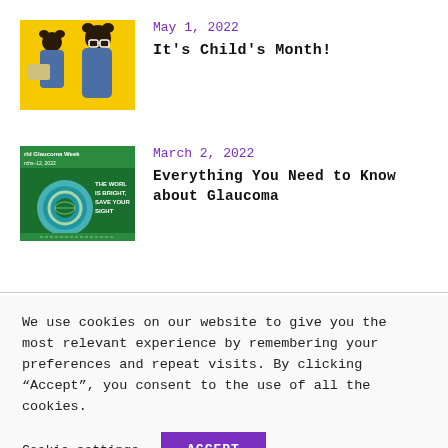[Figure (photo): Two girls with glasses on yellow background, one holding a laptop]
May 1, 2022
It's Child's Month!
[Figure (photo): World Glaucoma Week banner with globe and text: THE WORLD IS BRIGHT, SAVE YOUR SIGHT]
March 2, 2022
Everything You Need to Know about Glaucoma
We use cookies on our website to give you the most relevant experience by remembering your preferences and repeat visits. By clicking “Accept”, you consent to the use of all the cookies.
Cookie settings
ACCEPT